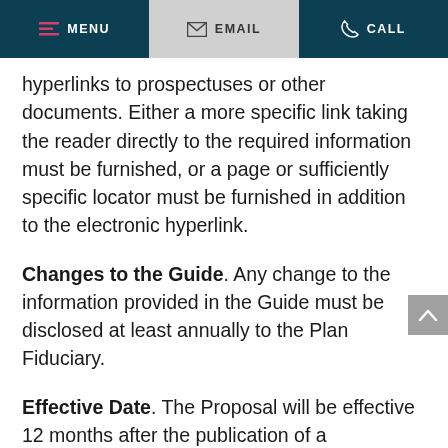MENU  EMAIL  CALL
hyperlinks to prospectuses or other documents. Either a more specific link taking the reader directly to the required information must be furnished, or a page or sufficiently specific locator must be furnished in addition to the electronic hyperlink.
Changes to the Guide. Any change to the information provided in the Guide must be disclosed at least annually to the Plan Fiduciary.
Effective Date. The Proposal will be effective 12 months after the publication of a